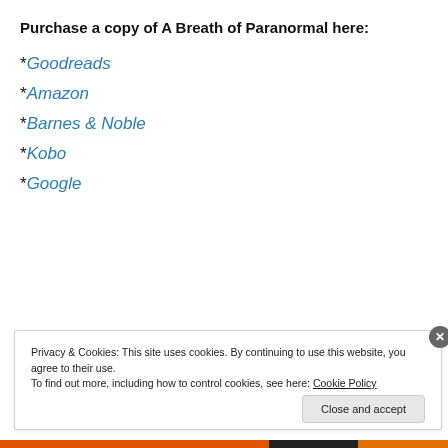Purchase a copy of A Breath of Paranormal here:
*Goodreads
*Amazon
*Barnes & Noble
*Kobo
*Google
Privacy & Cookies: This site uses cookies. By continuing to use this website, you agree to their use. To find out more, including how to control cookies, see here: Cookie Policy
Close and accept